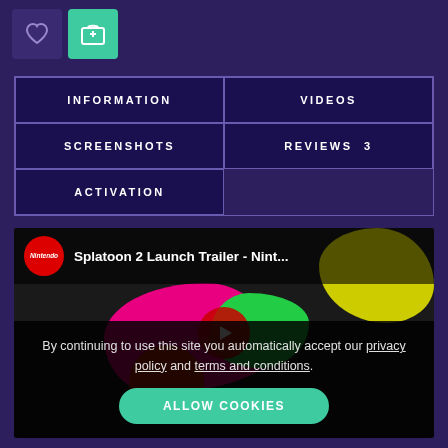[Figure (screenshot): Top bar with heart/wishlist and cart (green) buttons on dark purple background]
INFORMATION
VIDEOS
SCREENSHOTS
REVIEWS 3
ACTIVATION
[Figure (screenshot): Splatoon 2 Launch Trailer - Nintendo YouTube video thumbnail with Nintendo logo and colorful paint splatter artwork]
By continuing to use this site you automatically accept our privacy policy and terms and conditions.
ALLOW COOKIES